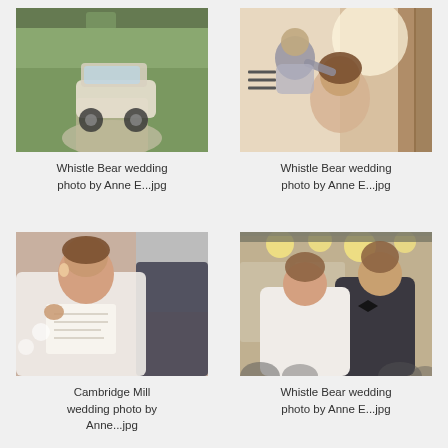[Figure (photo): Golf cart on an outdoor path, aerial/overhead view, wedding decoration]
Whistle Bear wedding photo by Anne E...jpg
[Figure (photo): Hair styling scene with bright window light, woman having hair done before wedding]
Whistle Bear wedding photo by Anne E...jpg
[Figure (photo): Bride in white dress reading vows paper, close up]
Cambridge Mill wedding photo by Anne...jpg
[Figure (photo): Bride and groom dancing together in reception hall with globe lights]
Whistle Bear wedding photo by Anne E...jpg